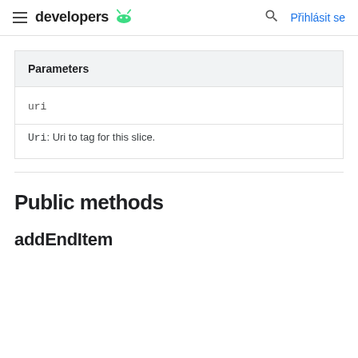developers | Přihlásit se
| Parameters |
| --- |
| uri |
| Uri: Uri to tag for this slice. |
Public methods
addEndItem